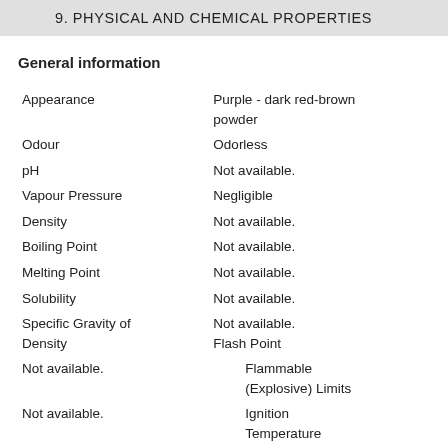9. PHYSICAL AND CHEMICAL PROPERTIES
General information
| Property | Value |
| --- | --- |
| Appearance | Purple - dark red-brown powder |
| Odour | Odorless |
| pH | Not available. |
| Vapour Pressure | Negligible |
| Density | Not available. |
| Boiling Point | Not available. |
| Melting Point | Not available. |
| Solubility | Not available. |
| Specific Gravity of Density | Not available.   Flash Point |
| Not available. | Flammable (Explosive) Limits |
| Not available. | Ignition Temperature |